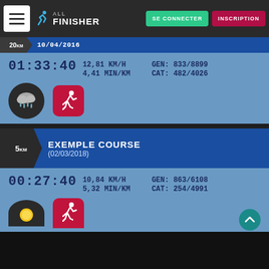ALL FINISHER — SE CONNECTER | INSCRIPTION
20km — 01:33:40  12,81 KM/H  4,41 MIN/KM  GEN: 833/8899  CAT: 482/4026
[Figure (screenshot): Weather icon (rain cloud on dark circle) and sport icon (runner on red rounded square)]
EXEMPLE COURSE (02/03/2018)
00:27:40  10,84 KM/H  5,32 MIN/KM  GEN: 863/6108  CAT: 254/4991